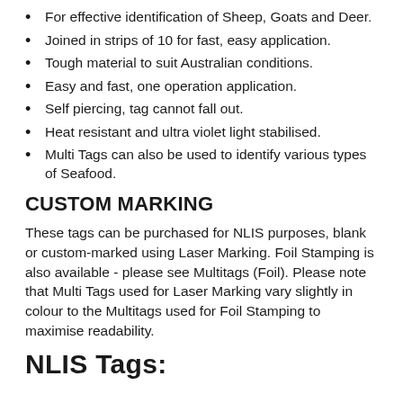For effective identification of Sheep, Goats and Deer.
Joined in strips of 10 for fast, easy application.
Tough material to suit Australian conditions.
Easy and fast, one operation application.
Self piercing, tag cannot fall out.
Heat resistant and ultra violet light stabilised.
Multi Tags can also be used to identify various types of Seafood.
CUSTOM MARKING
These tags can be purchased for NLIS purposes, blank or custom-marked using Laser Marking. Foil Stamping is also available - please see Multitags (Foil). Please note that Multi Tags used for Laser Marking vary slightly in colour to the Multitags used for Foil Stamping to maximise readability.
NLIS Tags: